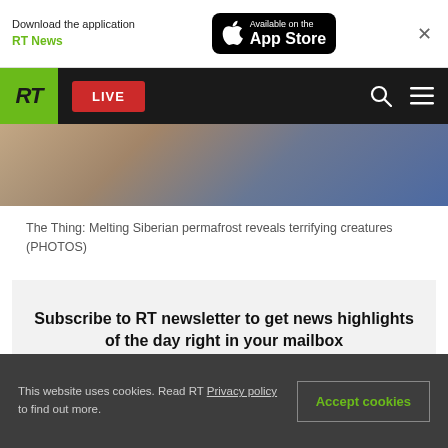Download the application RT News — Available on the App Store
[Figure (screenshot): RT news website navigation bar with green RT logo, red LIVE button, search icon, and hamburger menu on dark background]
[Figure (photo): Partial image strip showing blurred background scene, likely related to Siberian permafrost creatures article]
The Thing: Melting Siberian permafrost reveals terrifying creatures (PHOTOS)
Subscribe to RT newsletter to get news highlights of the day right in your mailbox
This website uses cookies. Read RT Privacy policy to find out more. Accept cookies